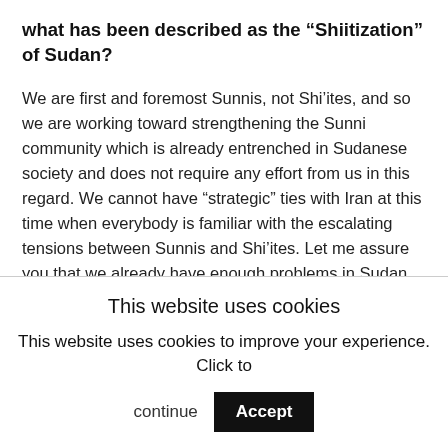what has been described as the “Shiitization” of Sudan?
We are first and foremost Sunnis, not Shi’ites, and so we are working toward strengthening the Sunni community which is already entrenched in Sudanese society and does not require any effort from us in this regard. We cannot have “strategic” ties with Iran at this time when everybody is familiar with the escalating tensions between Sunnis and Shi’ites. Let me assure you that we already have enough problems in Sudan, whether factional or tribal, and therefore are not willing to create new and unnecessary crises. We are completely against Shiitization.
This website uses cookies
This website uses cookies to improve your experience. Click to continue